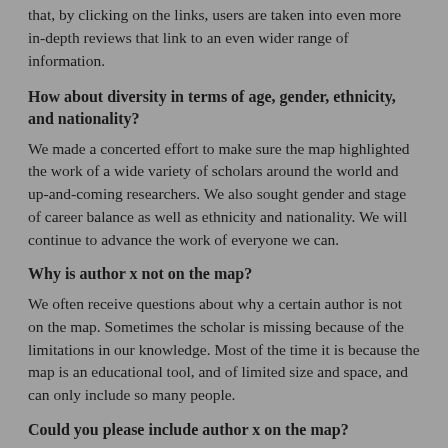that, by clicking on the links, users are taken into even more in-depth reviews that link to an even wider range of information.
How about diversity in terms of age, gender, ethnicity, and nationality?
We made a concerted effort to make sure the map highlighted the work of a wide variety of scholars around the world and up-and-coming researchers. We also sought gender and stage of career balance as well as ethnicity and nationality. We will continue to advance the work of everyone we can.
Why is author x not on the map?
We often receive questions about why a certain author is not on the map. Sometimes the scholar is missing because of the limitations in our knowledge. Most of the time it is because the map is an educational tool, and of limited size and space, and can only include so many people.
Could you please include author x on the map?
Unfortunately, we are unable to fulfil such requests.
Could you please include me on the map?